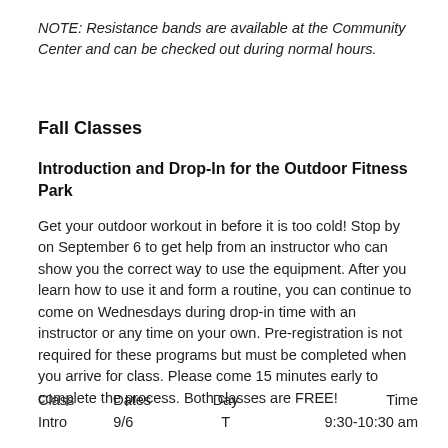NOTE: Resistance bands are available at the Community Center and can be checked out during normal hours.
Fall Classes
Introduction and Drop-In for the Outdoor Fitness Park
Get your outdoor workout in before it is too cold! Stop by on September 6 to get help from an instructor who can show you the correct way to use the equipment. After you learn how to use it and form a routine, you can continue to come on Wednesdays during drop-in time with an instructor or any time on your own. Pre-registration is not required for these programs but must be completed when you arrive for class. Please come 15 minutes early to complete the process. Both classes are FREE!
| Class | Dates | Day | Time |
| --- | --- | --- | --- |
| Intro | 9/6 | T | 9:30-10:30 am |